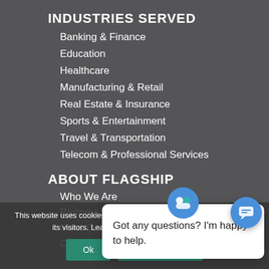INDUSTRIES SERVED
Banking & Finance
Education
Healthcare
Manufacturing & Retail
Real Estate & Insurance
Sports & Entertainment
Travel & Transportation
Telecom & Professional Services
ABOUT FLAGSHIP
Who We Are
Partners
Meet Our Team
Community Involvement
Got any questions? I'm happy to help.
This website uses cookies to provide the best possible experience for its visitors. Learn more about our privacy policy.